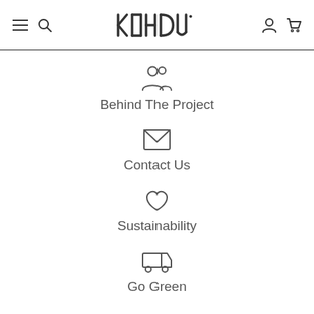KOHDU - navigation header with menu, search, account, cart icons
Behind The Project
Contact Us
Sustainability
Go Green